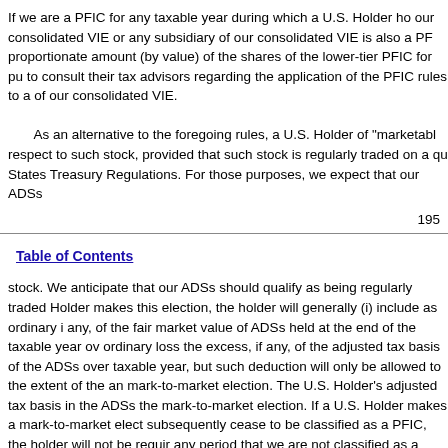If we are a PFIC for any taxable year during which a U.S. Holder ho our consolidated VIE or any subsidiary of our consolidated VIE is also a PF proportionate amount (by value) of the shares of the lower-tier PFIC for pu to consult their tax advisors regarding the application of the PFIC rules to a of our consolidated VIE.
As an alternative to the foregoing rules, a U.S. Holder of "marketabl respect to such stock, provided that such stock is regularly traded on a qu States Treasury Regulations. For those purposes, we expect that our ADSs
195
Table of Contents
stock. We anticipate that our ADSs should qualify as being regularly traded Holder makes this election, the holder will generally (i) include as ordinary i any, of the fair market value of ADSs held at the end of the taxable year ov ordinary loss the excess, if any, of the adjusted tax basis of the ADSs over taxable year, but such deduction will only be allowed to the extent of the an mark-to-market election. The U.S. Holder's adjusted tax basis in the ADSs the mark-to-market election. If a U.S. Holder makes a mark-to-market elect subsequently cease to be classified as a PFIC, the holder will not be requir any period that we are not classified as a PFIC. If a U.S. Holder makes a m upon the sale or other disposition of our ADSs in a year when we are a PFI treated as ordinary loss, but such loss will only be treated as ordinary loss t a result of the mark-to-market election.